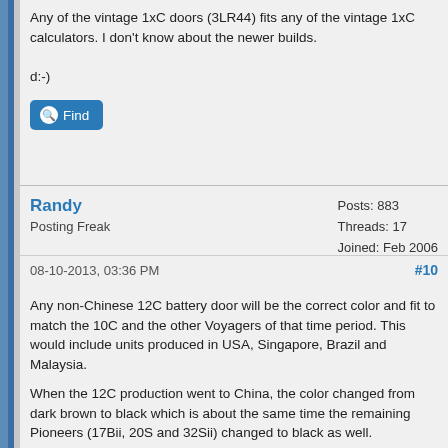Any of the vintage 1xC doors (3LR44) fits any of the vintage 1xC calculators. I don't know about the newer builds.

d:-)
Find
Randy
Posting Freak
Posts: 883
Threads: 17
Joined: Feb 2006
08-10-2013, 03:36 PM
#10
Any non-Chinese 12C battery door will be the correct color and fit to match the 10C and the other Voyagers of that time period. This would include units produced in USA, Singapore, Brazil and Malaysia.
When the 12C production went to China, the color changed from dark brown to black which is about the same time the remaining Pioneers (17Bii, 20S and 32Sii) changed to black as well.
Calcpro had some stock of the older 12C doors in brown.